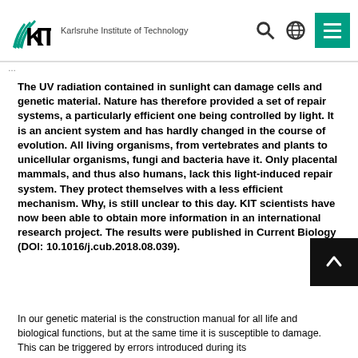KIT — Karlsruhe Institute of Technology
The UV radiation contained in sunlight can damage cells and genetic material. Nature has therefore provided a set of repair systems, a particularly efficient one being controlled by light. It is an ancient system and has hardly changed in the course of evolution. All living organisms, from vertebrates and plants to unicellular organisms, fungi and bacteria have it. Only placental mammals, and thus also humans, lack this light-induced repair system. They protect themselves with a less efficient mechanism. Why, is still unclear to this day. KIT scientists have now been able to obtain more information in an international research project. The results were published in Current Biology (DOI: 10.1016/j.cub.2018.08.039).
In our genetic material is the construction manual for all life and biological functions, but at the same time it is susceptible to damage. This can be triggered by errors introduced during its